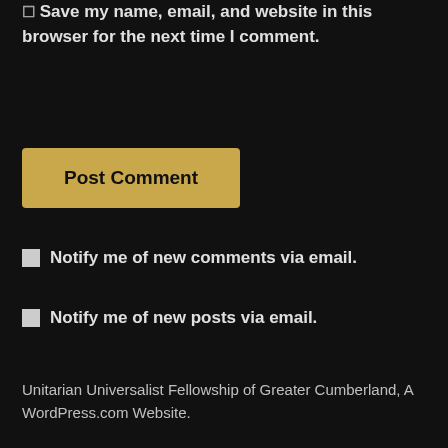Save my name, email, and website in this browser for the next time I comment.
Post Comment
Notify me of new comments via email.
Notify me of new posts via email.
Unitarian Universalist Fellowship of Greater Cumberland, A WordPress.com Website.